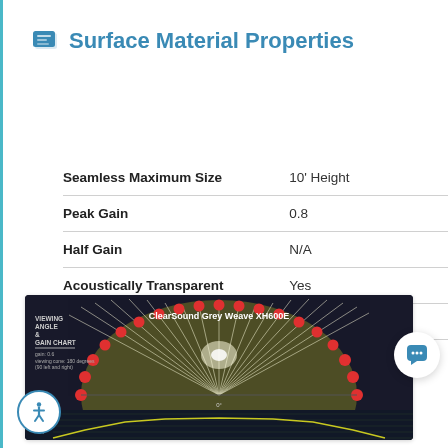Surface Material Properties
| Property | Value |
| --- | --- |
| Seamless Maximum Size | 10' Height |
| Peak Gain | 0.8 |
| Half Gain | N/A |
| Acoustically Transparent | Yes |
| Front / Rear Projection | Front |
[Figure (other): ClearSound Grey Weave XH600E Viewing Angle & Gain Chart — semicircular gain chart with red dot markers around arc, radiating white lines from center bright spot on dark/gold background, with small line graph below showing gain (0.8) vs viewing angle (180 degrees, 90 left and right). Y-axis shows gain values from about 0.5 to 1.0, x-axis shows angle.]